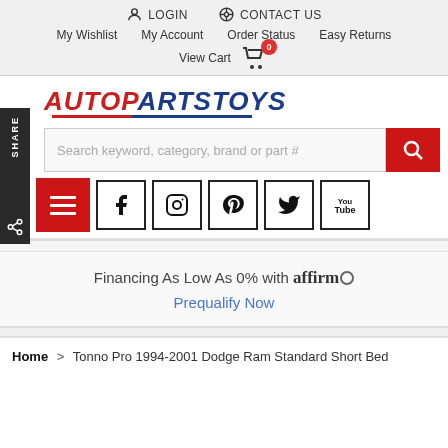LOGIN  CONTACT US  My Wishlist  My Account  Order Status  Easy Returns  View Cart 0
[Figure (logo): AutoPartsToys logo in red and blue italic text with underline]
Search keyword, category, brand or part #
[Figure (infographic): Social media icons: Facebook, Instagram, Pinterest, Twitter, YouTube in bordered boxes, with red hamburger menu button]
Financing As Low As 0% with affirm  Prequalify Now
Home > Tonno Pro 1994-2001 Dodge Ram Standard Short Bed